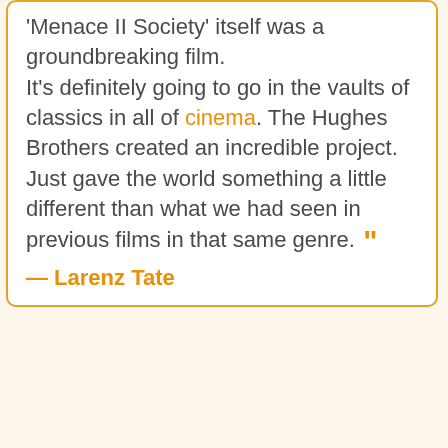'Menace II Society' itself was a groundbreaking film. It's definitely going to go in the vaults of classics in all of cinema. The Hughes Brothers created an incredible project. Just gave the world something a little different than what we had seen in previous films in that same genre.”
— Larenz Tate
[Figure (other): Empty white box with orange border, lower half of page]